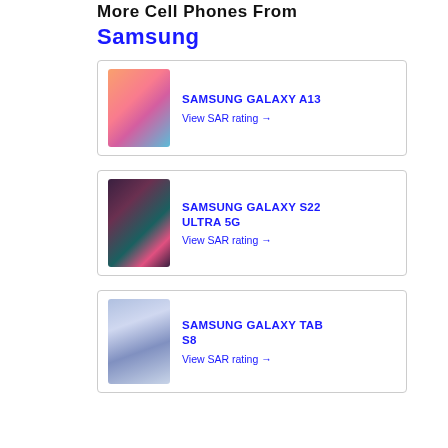More Cell Phones From Samsung
[Figure (photo): Samsung Galaxy A13 phone image showing colorful gradient design]
SAMSUNG GALAXY A13
View SAR rating →
[Figure (photo): Samsung Galaxy S22 Ultra 5G phone image showing dark purple and teal design]
SAMSUNG GALAXY S22 ULTRA 5G
View SAR rating →
[Figure (photo): Samsung Galaxy Tab S8 tablet image showing light blue and white design]
SAMSUNG GALAXY TAB S8
View SAR rating →